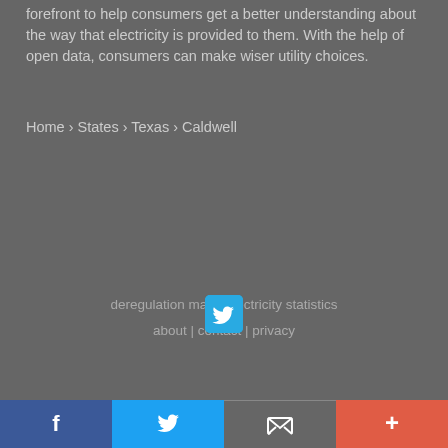forefront to help consumers get a better understanding about the way that electricity is provided to them. With the help of open data, consumers can make wiser utility choices.
Home › States › Texas › Caldwell
deregulation map | electricity statistics about | contact | privacy
[Figure (logo): Twitter bird icon button, cyan/blue square with rounded corners]
© Copyright 2022 Electricity Local
[Figure (infographic): Social sharing bar with four sections: Facebook (dark blue, f icon), Twitter (blue, bird icon), Email/envelope (gray, envelope icon), Plus/more (orange-red, + icon)]